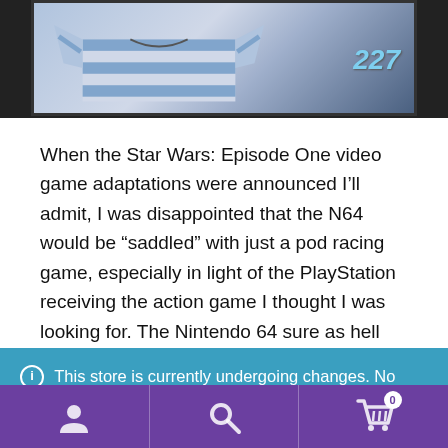[Figure (photo): Partial screenshot of a product image showing a blue and white striped shirt/garment with a colorful graphic in the upper right corner showing '227' in teal/purple stylized text]
When the Star Wars: Episode One video game adaptations were announced I’ll admit, I was disappointed that the N64 would be “saddled” with just a pod racing game, especially in light of the PlayStation receiving the action game I thought I was looking for. The Nintendo 64 sure as hell did not need another racing […]
ⓘ This store is currently undergoing changes. No checkout is currently possible. Thank you for visiting, come again when our site is ready!
Dismiss
[Figure (screenshot): Bottom navigation bar with purple background showing three icons: a person/account icon on the left, a magnifying glass/search icon in the center, and a shopping cart icon on the right with a badge showing '0']